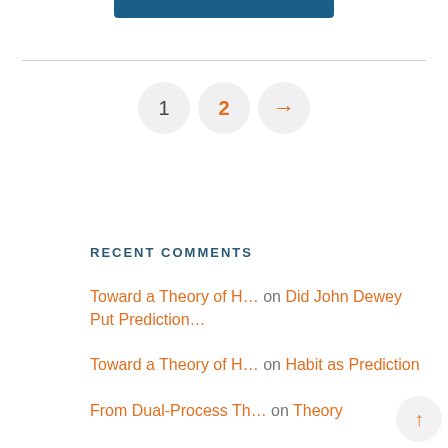[Figure (other): Teal/blue rounded rectangle banner at top center of page]
[Figure (other): Pagination controls showing page 1, page 2 (active in orange), and a right arrow (orange) in circular buttons]
RECENT COMMENTS
Toward a Theory of H… on Did John Dewey Put Prediction…
Toward a Theory of H… on Habit as Prediction
From Dual-Process Th… on Theory